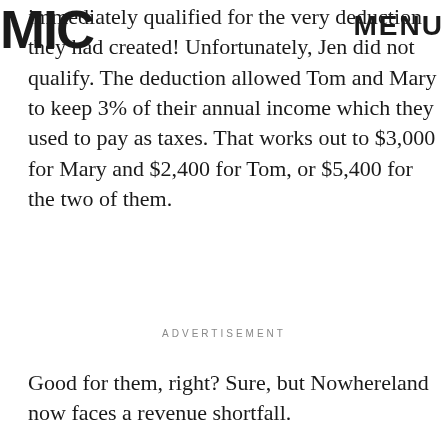MIC | MENU
immediately qualified for the very deduction they had created! Unfortunately, Jen did not qualify. The deduction allowed Tom and Mary to keep 3% of their annual income which they used to pay as taxes. That works out to $3,000 for Mary and $2,400 for Tom, or $5,400 for the two of them.
ADVERTISEMENT
Good for them, right? Sure, but Nowhereland now faces a revenue shortfall.